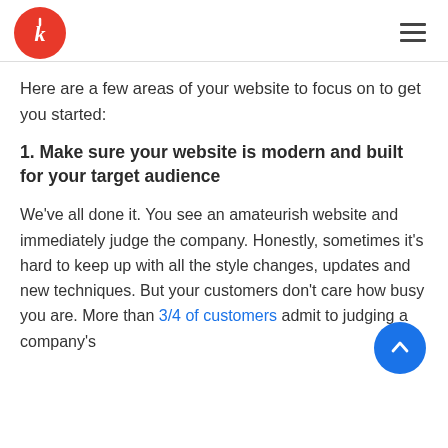[Logo and navigation header]
Here are a few areas of your website to focus on to get you started:
1. Make sure your website is modern and built for your target audience
We’ve all done it. You see an amateurish website and immediately judge the company. Honestly, sometimes it’s hard to keep up with all the style changes, updates and new techniques. But your customers don’t care how busy you are. More than 3/4 of customers admit to judging a company’s